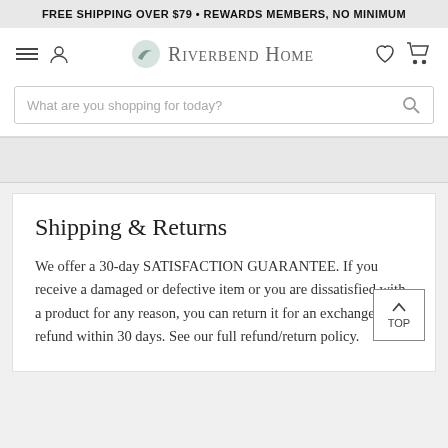FREE SHIPPING OVER $79 • REWARDS MEMBERS, NO MINIMUM
[Figure (logo): Riverbend Home logo with navigation icons (hamburger menu, user, heart, cart) and search bar]
Shipping & Returns
We offer a 30-day SATISFACTION GUARANTEE. If you receive a damaged or defective item or you are dissatisfied with a product for any reason, you can return it for an exchange or refund within 30 days. See our full refund/return policy.